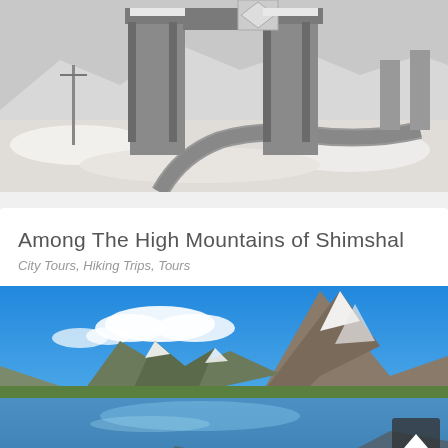[Figure (photo): Snowy mountain road scene with large concrete bridge pillars/gateway structure over a winding road, snow-covered terrain on either side, grey sky]
Among The High Mountains of Shimshal
City Tours, Hiking Trips, Tours
[Figure (photo): Stunning mountain lake landscape with blue sky and white clouds reflected in calm water, snow-capped peaks and rocky mountains in background, green valley slopes]